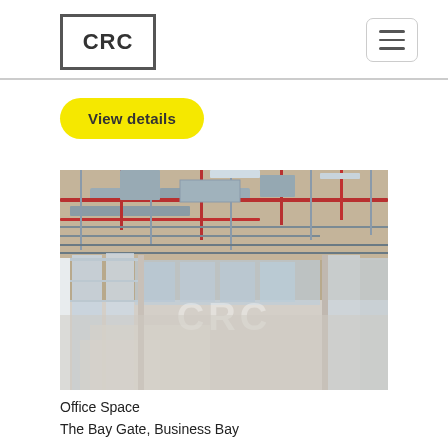CRC
View details
[Figure (photo): Interior of an unfinished office space showing exposed ceiling with ductwork, red pipes, electrical conduits, large floor-to-ceiling windows along the left and far walls, concrete floor, and a faint CRC watermark in the center]
Office Space
The Bay Gate, Business Bay